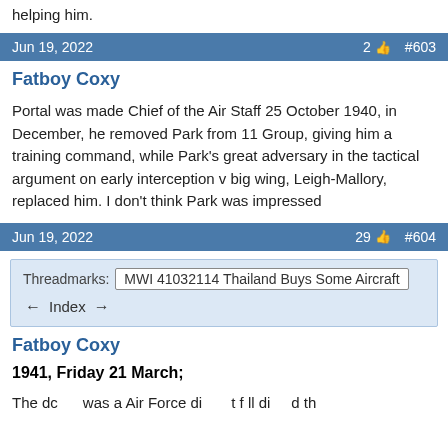helping him.
Jun 19, 2022   2 👍   #603
Fatboy Coxy
Portal was made Chief of the Air Staff 25 October 1940, in December, he removed Park from 11 Group, giving him a training command, while Park's great adversary in the tactical argument on early interception v big wing, Leigh-Mallory, replaced him. I don't think Park was impressed
Jun 19, 2022   29 👍   #604
| Threadmarks: | MWI 41032114 Thailand Buys Some Aircraft |
| --- | --- |
← Index →
Fatboy Coxy
1941, Friday 21 March;
The dc was a Air Force di t f ll di d th